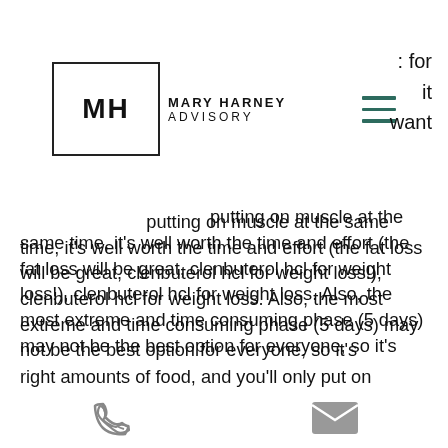[Figure (logo): Mary Harney Advisory logo with MH monogram in a box]
for
it
want
putting on muscle at the same time, it's well worth the time and effort (the fat loss will be great, clenbuterol hcl for weight loss!), clenbuterol hcl for weight loss. Also, the most extreme and time consuming phase (5 days) may not be the best option for everyone, so it's important to discuss how best to handle it with your coach and doctor, 6 week steroid cutting cycle.

This is the kind of diet you know by now — fast-burn diet where you'll put on pounds each and every day, until you're lean and muscular. However, the thing to remember is
phone and email icons